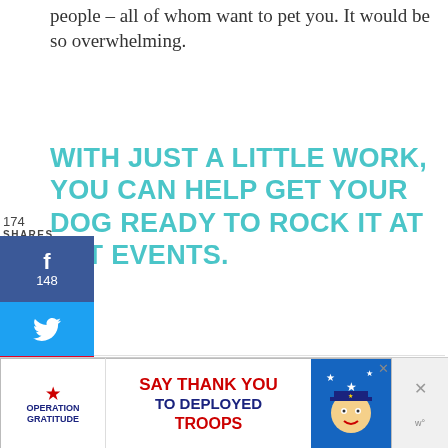people – all of whom want to pet you. It would be so overwhelming.
WITH JUST A LITTLE WORK, YOU CAN HELP GET YOUR DOG READY TO ROCK IT AT PET EVENTS.
[Figure (infographic): Social media sharing sidebar with Facebook (148), Twitter, Pinterest (2), and heart/save buttons. Shows 174 total shares.]
SKILLS YOUR DOG
175
HOULD KNOW BEFORE
[Figure (infographic): Advertisement banner for Operation Gratitude: 'SAY THANK YOU TO DEPLOYED TROOPS' with patriotic imagery and a cartoon soldier/mascot.]